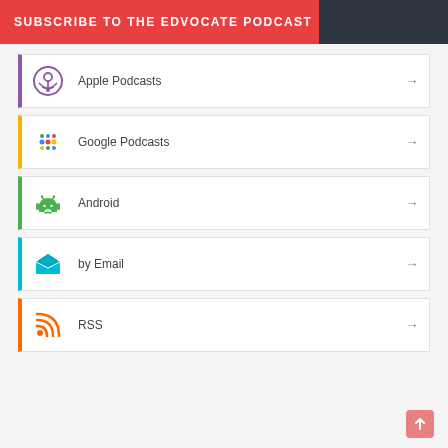SUBSCRIBE TO THE EDVOCATE PODCAST
Apple Podcasts
Google Podcasts
Android
by Email
RSS